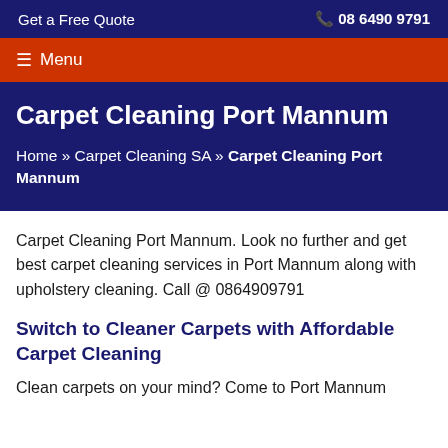Get a Free Quote   📞 08 6490 9791
☰ Menu
Carpet Cleaning Port Mannum
Home » Carpet Cleaning SA » Carpet Cleaning Port Mannum
Carpet Cleaning Port Mannum. Look no further and get best carpet cleaning services in Port Mannum along with upholstery cleaning. Call @ 0864909791
Switch to Cleaner Carpets with Affordable Carpet Cleaning
Clean carpets on your mind? Come to Port Mannum